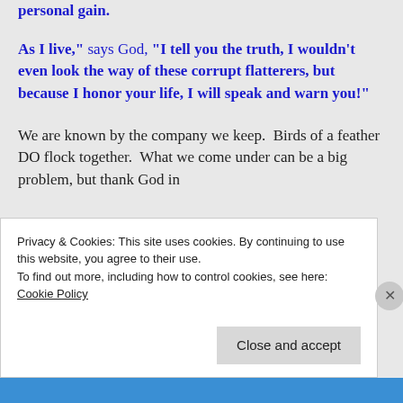by others. They take advantage to their own personal gain.
"As I live," says God, "I tell you the truth, I wouldn't even look the way of these corrupt flatterers, but because I honor your life, I will speak and warn you!"
We are known by the company we keep.  Birds of a feather DO flock together.  What we come under can be a big problem, but thank God in
Privacy & Cookies: This site uses cookies. By continuing to use this website, you agree to their use.
To find out more, including how to control cookies, see here:
Cookie Policy
Close and accept